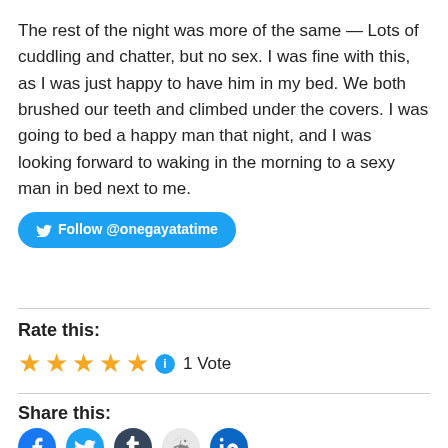The rest of the night was more of the same — Lots of cuddling and chatter, but no sex. I was fine with this, as I was just happy to have him in my bed. We both brushed our teeth and climbed under the covers. I was going to bed a happy man that night, and I was looking forward to waking in the morning to a sexy man in bed next to me.
Follow @onegayatatime
Rate this:
1 Vote
Share this: